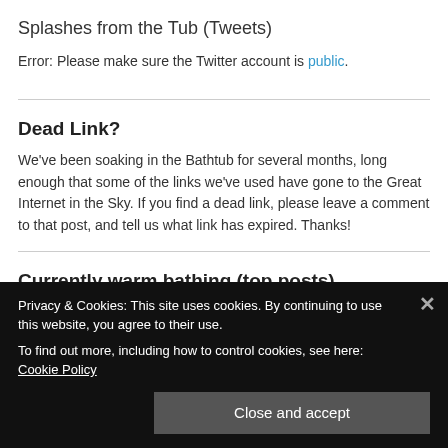Splashes from the Tub (Tweets)
Error: Please make sure the Twitter account is public.
Dead Link?
We've been soaking in the Bathtub for several months, long enough that some of the links we've used have gone to the Great Internet in the Sky. If you find a dead link, please leave a comment to that post, and tell us what link has expired. Thanks!
Currently warm bathing (top posts)
Privacy & Cookies: This site uses cookies. By continuing to use this website, you agree to their use.
To find out more, including how to control cookies, see here: Cookie Policy
Close and accept